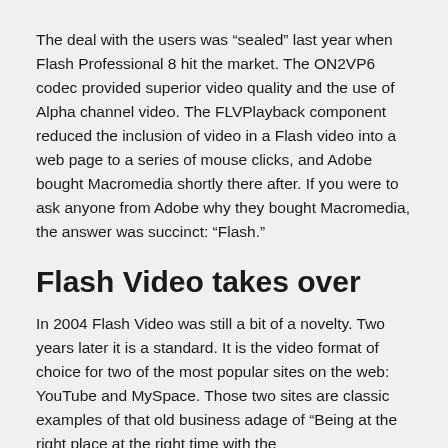The deal with the users was “sealed” last year when Flash Professional 8 hit the market. The ON2VP6 codec provided superior video quality and the use of Alpha channel video. The FLVPlayback component reduced the inclusion of video in a Flash video into a web page to a series of mouse clicks, and Adobe bought Macromedia shortly there after. If you were to ask anyone from Adobe why they bought Macromedia, the answer was succinct: “Flash.”
Flash Video takes over
In 2004 Flash Video was still a bit of a novelty. Two years later it is a standard. It is the video format of choice for two of the most popular sites on the web: YouTube and MySpace. Those two sites are classic examples of that old business adage of “Being at the right place at the right time with the